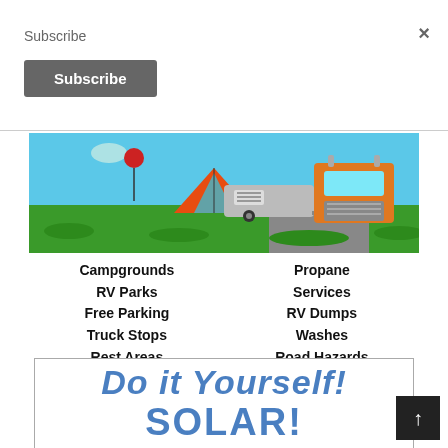Subscribe
×
Subscribe
[Figure (illustration): Illustration of camping scene with a tent, RV trailer, and large orange truck on a green field with blue sky]
Campgrounds
RV Parks
Free Parking
Truck Stops
Rest Areas
Propane
Services
RV Dumps
Washes
Road Hazards
[Figure (illustration): Banner with bold blue italic text reading 'Do it Yourself!' and 'SOLAR!']